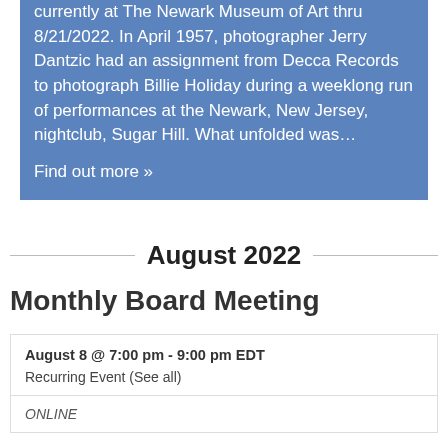Sugar Hill: Photographs by Jerry Dantzic, currently at The Newark Museum of Art thru 8/21/2022. In April 1957, photographer Jerry Dantzic had an assignment from Decca Records to photograph Billie Holiday during a weeklong run of performances at the Newark, New Jersey, nightclub, Sugar Hill. What unfolded was…
Find out more »
August 2022
Monthly Board Meeting
August 8 @ 7:00 pm - 9:00 pm EDT
Recurring Event (See all)
ONLINE